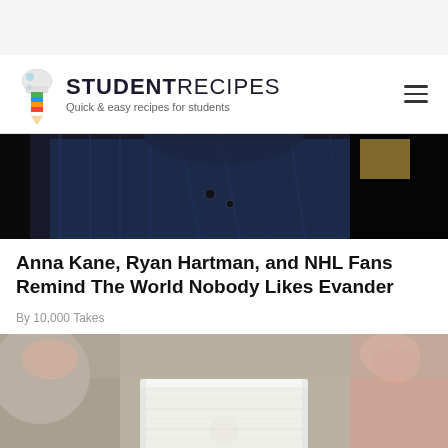[Figure (photo): Top gray bar area placeholder]
[Figure (logo): StudentRecipes logo with chef hat icon and tagline 'Quick & easy recipes for students']
[Figure (photo): Photo of a person in a dark denim jacket, cropped showing torso and arm, with a dark background]
Anna Kane, Ryan Hartman, and NHL Fans Remind The World Nobody Likes Evander
By 10,000 Takes
[Figure (photo): Photo showing a person holding a white toilet paper roll in a bathroom setting]